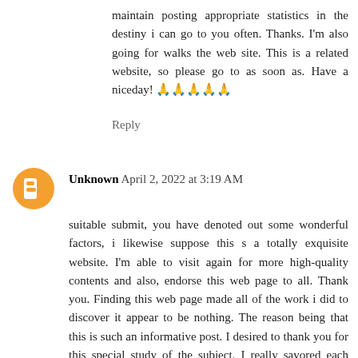maintain posting appropriate statistics in the destiny i can go to you often. Thanks. I'm also going for walks the web site. This is a related website, so please go to as soon as. Have a niceday! 🙏🙏🙏🙏🙏
Reply
Unknown  April 2, 2022 at 3:19 AM
suitable submit, you have denoted out some wonderful factors, i likewise suppose this s a totally exquisite website. I'm able to visit again for more high-quality contents and also, endorse this web page to all. Thank you. Finding this web page made all of the work i did to discover it appear to be nothing. The reason being that this is such an informative post. I desired to thank you for this special study of the subject. I really savored each little little bit of it and that i have you bookmarked to test out new belongings you post. I'm so delighted i located your site, i absolutely positioned you by mistake, at the same time as i was searching on yahoo for something else, anyways i am right here now and could much like to mention cheers for a splendid put up and a all round entertaining internet site. Please do hold up the tremendous work. Thanks of this weblog. That's all i'm capable to say. You can also do something that is about internet use the